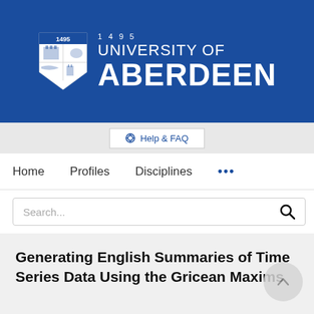[Figure (logo): University of Aberdeen logo with blue banner, shield crest showing year 1495, and white text reading UNIVERSITY OF ABERDEEN]
Help & FAQ
Home   Profiles   Disciplines   ...
Search...
Generating English Summaries of Time Series Data Using the Gricean Maxims